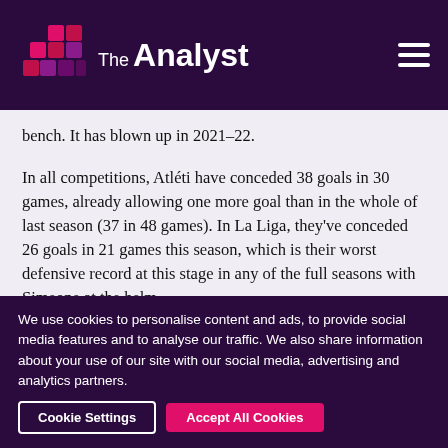The Analyst
bench. It has blown up in 2021-22.
In all competitions, Atléti have conceded 38 goals in 30 games, already allowing one more goal than in the whole of last season (37 in 48 games). In La Liga, they've conceded 26 goals in 21 games this season, which is their worst defensive record at this stage in any of the full seasons with Simeone at the helm.
We use cookies to personalise content and ads, to provide social media features and to analyse our traffic. We also share information about your use of our site with our social media, advertising and analytics partners.